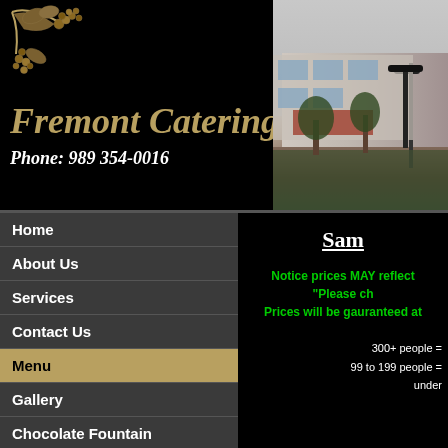[Figure (illustration): Black decorative floral/grape vine ornament in top-left corner]
Fremont Catering Co.
Phone: 989   354-0016
[Figure (photo): Photograph of a commercial building exterior with parking lot, trees, and a tall street lamp]
Home
About Us
Services
Contact Us
Menu
Gallery
Chocolate Fountain
Equipment Rental
Sam
Notice prices MAY reflect 
"Please ch
Prices will be gauranteed at
300+ people =
99 to 199 people =
under